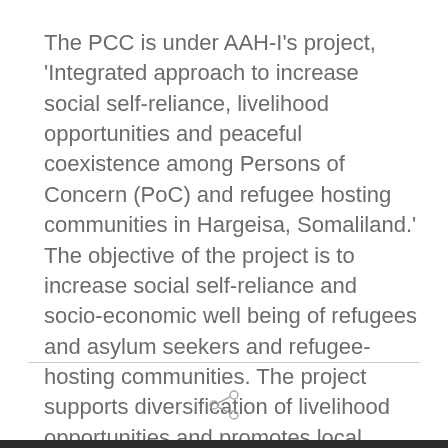The PCC is under AAH-I's project, 'Integrated approach to increase social self-reliance, livelihood opportunities and peaceful coexistence among Persons of Concern (PoC) and refugee hosting communities in Hargeisa, Somaliland.' The objective of the project is to increase social self-reliance and socio-economic well being of refugees and asylum seekers and refugee-hosting communities. The project supports diversification of livelihood opportunities and promotes local population receptivity towards refugees